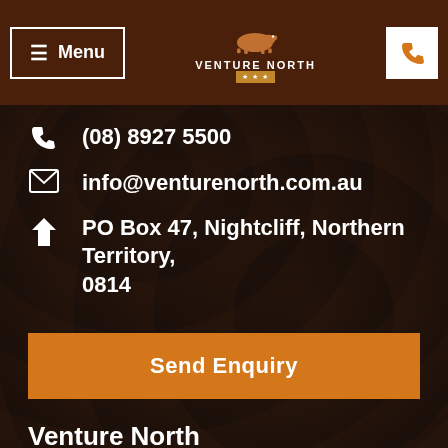Menu | Venture North | [phone icon]
(08) 8927 5500
info@venturenorth.com.au
PO Box 47, Nightcliff, Northern Territory, 0814
Send Enquiry
Venture North
Awards
Our boat
Why choose us?